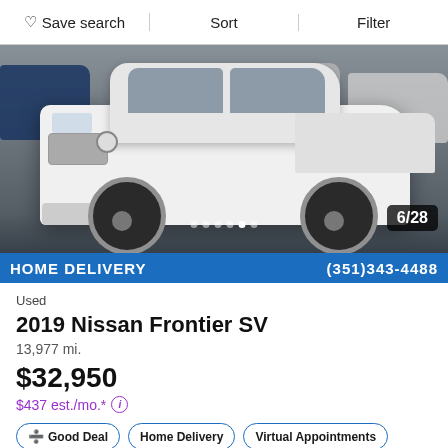Save search  Sort  Filter
[Figure (photo): White 2019 Nissan Frontier SV pickup truck parked in a lot, front 3/4 view, rainy day. Blue banner at bottom reads HOME DELIVERY with phone number. Image counter shows 6/28.]
Used
2019 Nissan Frontier SV
13,977 mi.
$32,950
$437 est./mo.*
Good Deal
Home Delivery
Virtual Appointments